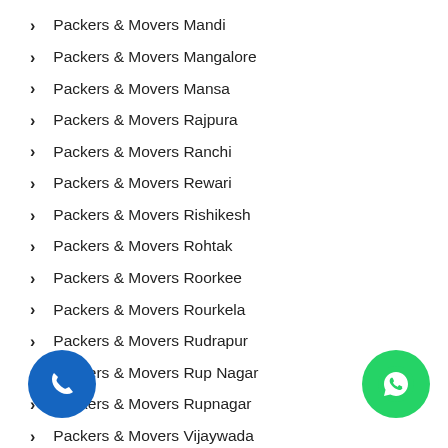Packers & Movers Mandi
Packers & Movers Mangalore
Packers & Movers Mansa
Packers & Movers Rajpura
Packers & Movers Ranchi
Packers & Movers Rewari
Packers & Movers Rishikesh
Packers & Movers Rohtak
Packers & Movers Roorkee
Packers & Movers Rourkela
Packers & Movers Rudrapur
Packers & Movers Rup Nagar
Packers & Movers Rupnagar
Packers & Movers Vijaywada
Packers & Movers Vishakhapatnam
Packers & Movers Rewari
Packers and Movers Himachal Pradesh
Packers and Movers Zirakpur
Packers and Movers Pinjore